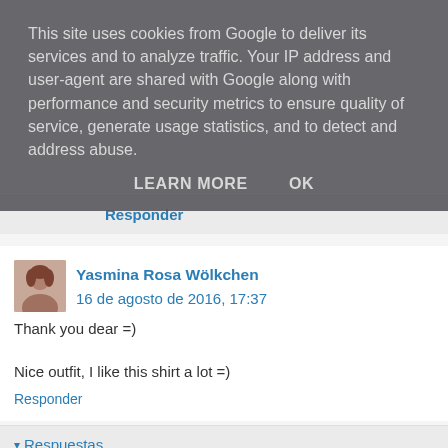This site uses cookies from Google to deliver its services and to analyze traffic. Your IP address and user-agent are shared with Google along with performance and security metrics to ensure quality of service, generate usage statistics, and to detect and address abuse.
LEARN MORE   OK
Responder
Yasmina Rosa Wölkchen  16 de agosto de 2016, 17:37
Thank you dear =)
Nice outfit, I like this shirt a lot =)
Responder
▾ Respuestas
Eleine  17 de agosto de 2016, 10:48